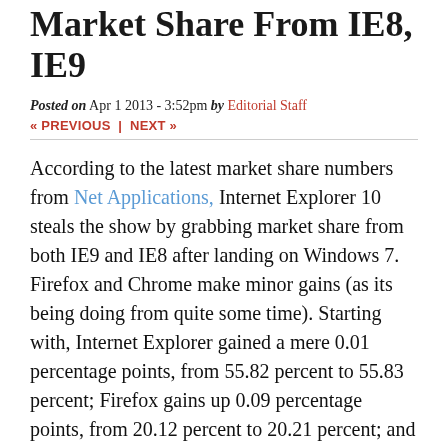Market Share From IE8, IE9
Posted on Apr 1 2013 - 3:52pm by Editorial Staff
« PREVIOUS | NEXT »
According to the latest market share numbers from Net Applications, Internet Explorer 10 steals the show by grabbing market share from both IE9 and IE8 after landing on Windows 7. Firefox and Chrome make minor gains (as its being doing from quite some time). Starting with, Internet Explorer gained a mere 0.01 percentage points, from 55.82 percent to 55.83 percent; Firefox gains up 0.09 percentage points, from 20.12 percent to 20.21 percent; and Chrome make a gain of 0.18 percentage points, from 16.27 percent to 16.45 percent.